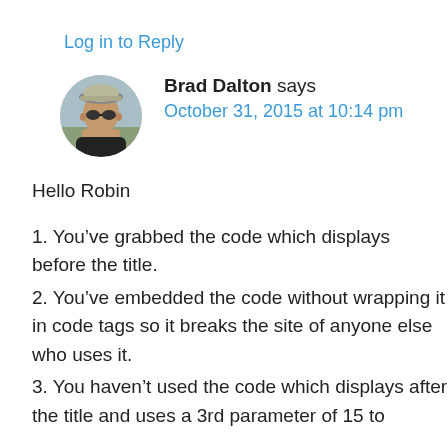Log in to Reply
[Figure (photo): Circular avatar photo of Brad Dalton, a man wearing sunglasses and a cap, outdoor background]
Brad Dalton says
October 31, 2015 at 10:14 pm
Hello Robin
1. You’ve grabbed the code which displays before the title.
2. You’ve embedded the code without wrapping it in code tags so it breaks the site of anyone else who uses it.
3. You haven’t used the code which displays after the title and uses a 3rd parameter of 15 to